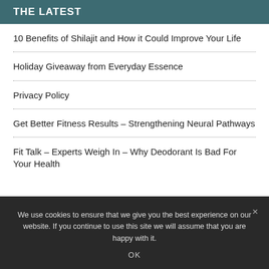THE LATEST
10 Benefits of Shilajit and How it Could Improve Your Life
Holiday Giveaway from Everyday Essence
Privacy Policy
Get Better Fitness Results – Strengthening Neural Pathways
Fit Talk – Experts Weigh In – Why Deodorant Is Bad For Your Health
We use cookies to ensure that we give you the best experience on our website. If you continue to use this site we will assume that you are happy with it.
OK